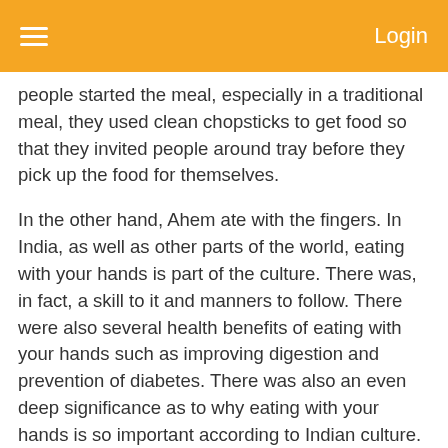Login
people started the meal, especially in a traditional meal, they used clean chopsticks to get food so that they invited people around tray before they pick up the food for themselves.
In the other hand, Ahem ate with the fingers. In India, as well as other parts of the world, eating with your hands is part of the culture. There was, in fact, a skill to it and manners to follow. There were also several health benefits of eating with your hands such as improving digestion and prevention of diabetes. There was also an even deep significance as to why eating with your hands is so important according to Indian culture.
According to the article that I read, the practice of eating with the hands originated within Ayurvedic teachings. The Vedic people believed that our